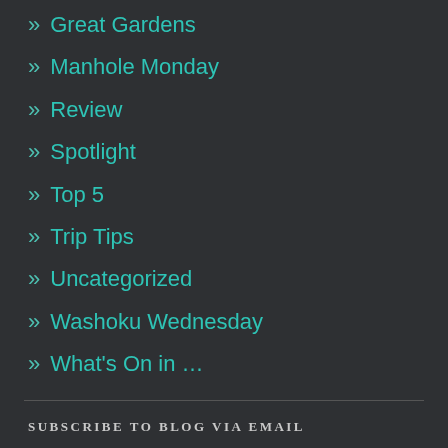» Great Gardens
» Manhole Monday
» Review
» Spotlight
» Top 5
» Trip Tips
» Uncategorized
» Washoku Wednesday
» What's On in …
SUBSCRIBE TO BLOG VIA EMAIL
Enter your email address to subscribe to this blog and receive notifications of new posts by email.